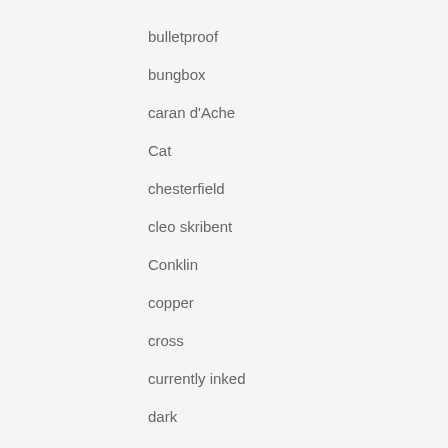bulletproof
bungbox
caran d'Ache
Cat
chesterfield
cleo skribent
Conklin
copper
cross
currently inked
dark
dc pen show
de atramentis
Delta
Diamine